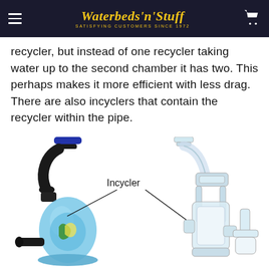Waterbeds 'n' Stuff — SATISFYING CUSTOMERS SINCE 1972
recycler, but instead of one recycler taking water up to the second chamber it has two. This perhaps makes it more efficient with less drag. There are also incyclers that contain the recycler within the pipe.
[Figure (photo): Two glass water pipes side by side on white background. Left pipe is black and blue glass incycler. Right pipe is a clear glass incycler. A label reading 'Incycler' with arrows pointing to both pipes is overlaid on the image.]